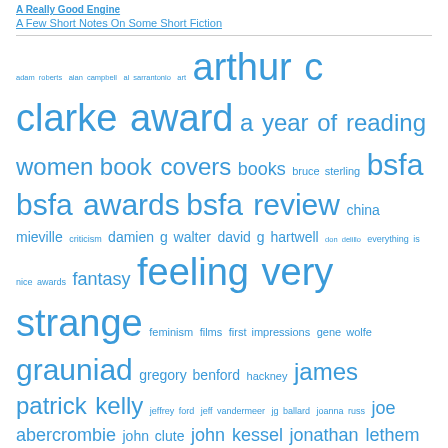A Really Good Engine
A Few Short Notes On Some Short Fiction
[Figure (other): Tag cloud with author names, genres, and topic tags in varying font sizes, all in blue. Tags include: adam roberts, alan campbell, al sarrantonio, art, arthur c clarke award, a year of reading women, book covers, books, bruce sterling, bsfa, bsfa awards, bsfa review, china mieville, criticism, damien g walter, david g hartwell, don delillo, everything is nice awards, fantasy, feeling very strange, feminism, films, first impressions, gene wolfe, grauniad, gregory benford, hackney, james patrick kelly, jeffrey ford, jeff vandermeer, jg ballard, joanna russ, joe abercrombie, john clute, john kessel, jonathan lethem, jonathan mccalmont, kathryn cramer, kit whitfield, locus, london international mime festival, margaret atwood, mark charan newton, martin amis, mirrorshades, m john harrison, music, nina allan]